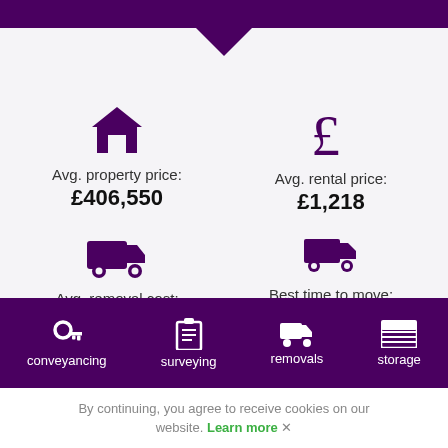[Figure (infographic): Four statistics in a 2x2 grid: Avg. property price £406,550, Avg. rental price £1,218, Avg. removal cost £3,428, Best time to move: May]
Avg. property price: £406,550
Avg. rental price: £1,218
Avg. removal cost: £3,428
Best time to move: May
conveyancing | surveying | removals | storage
By continuing, you agree to receive cookies on our website. Learn more ✕